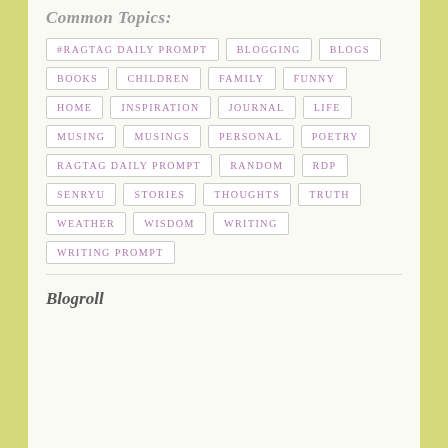Common Topics:
#RAGTAG DAILY PROMPT
BLOGGING
BLOGS
BOOKS
CHILDREN
FAMILY
FUNNY
HOME
INSPIRATION
JOURNAL
LIFE
MUSING
MUSINGS
PERSONAL
POETRY
RAGTAG DAILY PROMPT
RANDOM
RDP
SENRYU
STORIES
THOUGHTS
TRUTH
WEATHER
WISDOM
WRITING
WRITING PROMPT
Blogroll